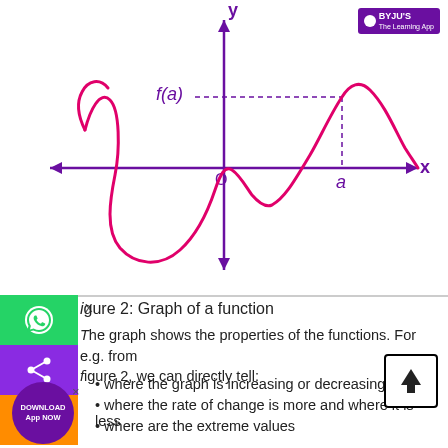[Figure (continuous-plot): Graph of a function showing a wave-like curve (pink/magenta) plotted on a coordinate axis (purple). The y-axis points up with an arrow, x-axis points right with an arrow. The curve has a local minimum in the left region, rises to a local maximum labeled f(a) at x=a, then descends. Dashed lines show f(a) on y-axis and a on x-axis. Origin labeled O.]
igure 2: Graph of a function
he graph shows the properties of the functions. For e.g. from igure 2, we can directly tell:
where the graph is increasing or decreasing
where the rate of change is more and where it is less
where are the extreme values
Thus, graphs are very beneficial for studying the behaviour of